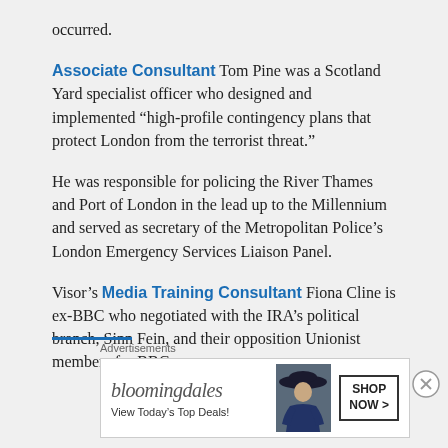occurred.
Associate Consultant Tom Pine was a Scotland Yard specialist officer who designed and implemented “high-profile contingency plans that protect London from the terrorist threat.”
He was responsible for policing the River Thames and Port of London in the lead up to the Millennium and served as secretary of the Metropolitan Police’s London Emergency Services Liaison Panel.
Visor’s Media Training Consultant Fiona Cline is ex-BBC who negotiated with the IRA’s political branch, Sinn Fein, and their opposition Unionist members for BBC programmes.
[Figure (other): Bloomingdales advertisement with logo, 'View Today’s Top Deals!' tagline, model wearing wide-brim hat, and 'SHOP NOW >' button]